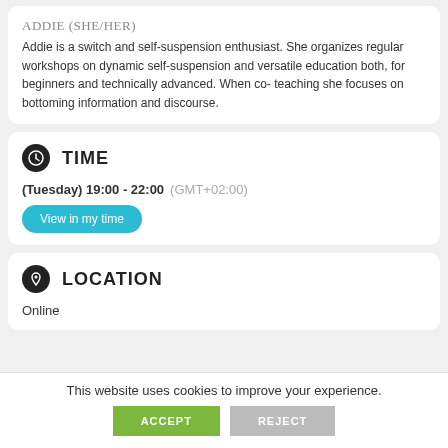ADDIE (SHE/HER)
Addie is a switch and self-suspension enthusiast. She organizes regular workshops on dynamic self-suspension and versatile education both, for beginners and technically advanced. When co- teaching she focuses on bottoming information and discourse.
TIME
(Tuesday) 19:00 - 22:00  (GMT+02:00)
View in my time
LOCATION
Online
This website uses cookies to improve your experience.